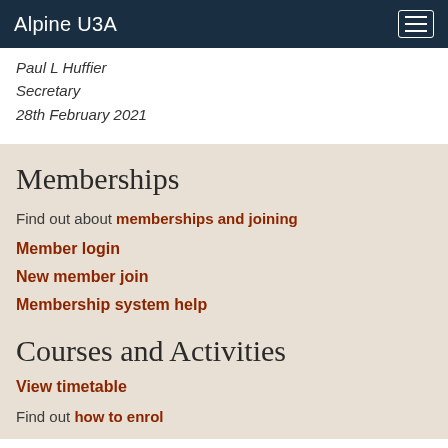Alpine U3A
Paul L Huffier
Secretary
28th February 2021
Memberships
Find out about memberships and joining
Member login
New member join
Membership system help
Courses and Activities
View timetable
Find out how to enrol